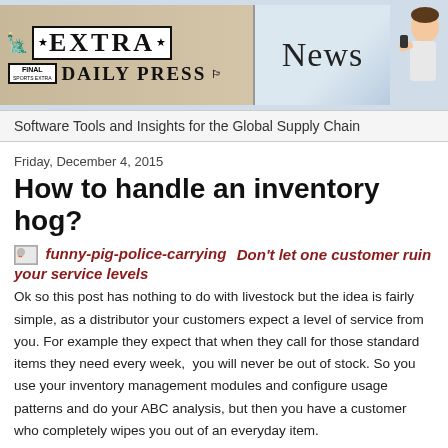[Figure (illustration): Newspaper banner image with 'EXTRA DAILY PRESS' newspaper header on the left, 'News' text in center, and a person on a phone on the right, with a light blue background.]
Software Tools and Insights for the Global Supply Chain
Friday, December 4, 2015
How to handle an inventory hog?
Don't let one customer ruin your service levels
Ok so this post has nothing to do with livestock but the idea is fairly simple, as a distributor your customers expect a level of service from you. For example they expect that when they call for those standard items they need every week,  you will never be out of stock. So you use your inventory management modules and configure usage patterns and do your ABC analysis, but then you have a customer who completely wipes you out of an everyday item.